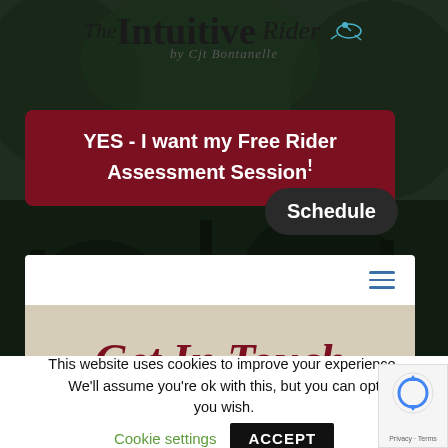[Figure (logo): The Intuitive Rider logo with horse rider icon, styled script and serif text, subtitle 'by Cjt Bontanelle']
YES - I want my Free Rider Assessment Session! Schedule
[Figure (screenshot): Website navigation bar with hamburger menu icon]
Get In Touch
This website uses cookies to improve your experience. We'll assume you're ok with this, but you can opt you wish.
Cookie settings
ACCEPT